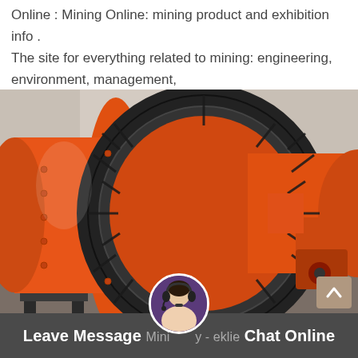Online : Mining Online: mining product and exhibition info . The site for everything related to mining: engineering, environment, management,
[Figure (photo): Large orange industrial ball mill machine with a prominent dark gear ring around the drum, photographed inside an industrial facility with concrete walls. The mill is painted bright orange and mounted on metal supports.]
Leave Message  Mining ... y - eklie  Chat Online